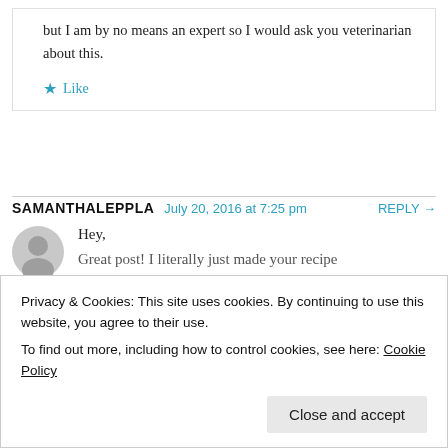but I am by no means an expert so I would ask you veterinarian about this.
Like
SAMANTHALEPPLA   July 20, 2016 at 7:25 pm   REPLY →
[Figure (illustration): Gray circular avatar/profile placeholder icon]
Hey,
Great post! I literally just made your recipe
Privacy & Cookies: This site uses cookies. By continuing to use this website, you agree to their use.
To find out more, including how to control cookies, see here: Cookie Policy
Close and accept